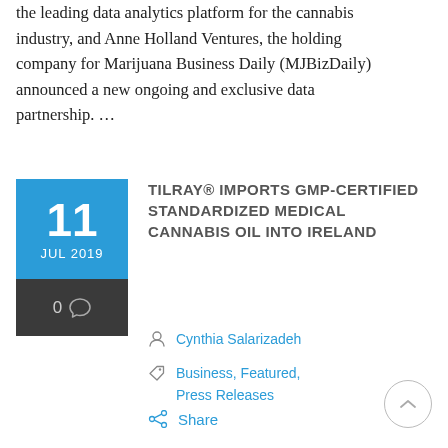the leading data analytics platform for the cannabis industry, and Anne Holland Ventures, the holding company for Marijuana Business Daily (MJBizDaily) announced a new ongoing and exclusive data partnership. …
TILRAY® IMPORTS GMP-CERTIFIED STANDARDIZED MEDICAL CANNABIS OIL INTO IRELAND
Cynthia Salarizadeh
Business, Featured, Press Releases
Share